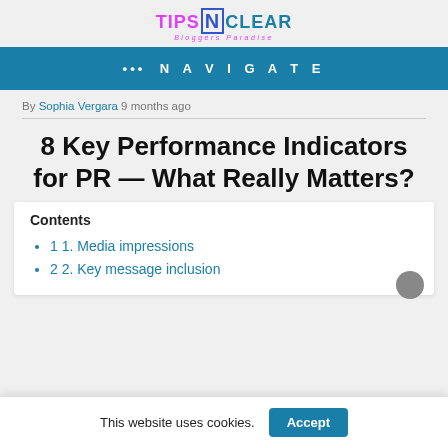TIPS N CLEAR Bloggers Paradise
••• NAVIGATE
By Sophia Vergara 9 months ago
8 Key Performance Indicators for PR — What Really Matters?
Contents
1 1. Media impressions
2 2. Key message inclusion
This website uses cookies.  Accept